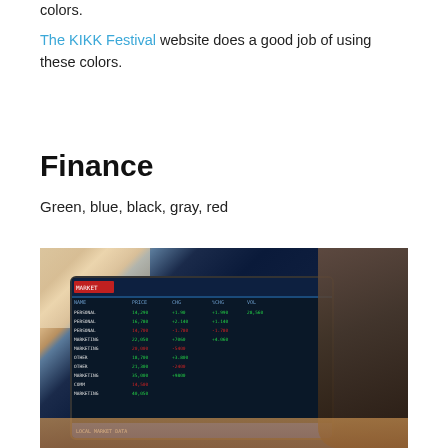colors.
The KIKK Festival website does a good job of using these colors.
Finance
Green, blue, black, gray, red
[Figure (photo): Person looking at a tablet displaying financial trading data with green and blue numbers on a dark background, with papers and a desk visible in the background.]